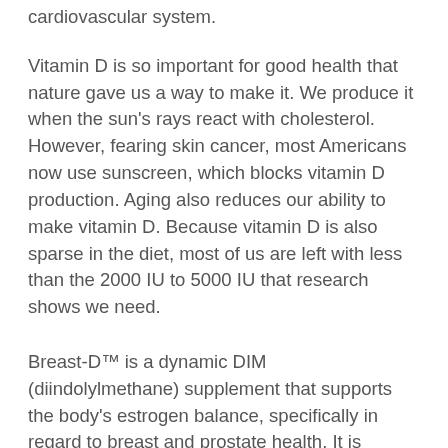cardiovascular system.
Vitamin D is so important for good health that nature gave us a way to make it. We produce it when the sun's rays react with cholesterol. However, fearing skin cancer, most Americans now use sunscreen, which blocks vitamin D production. Aging also reduces our ability to make vitamin D. Because vitamin D is also sparse in the diet, most of us are left with less than the 2000 IU to 5000 IU that research shows we need.
Breast-D™ is a dynamic DIM (diindolylmethane) supplement that supports the body's estrogen balance, specifically in regard to breast and prostate health. It is formulated with 4000 IUs of vitamin D – well known for supporting breast, prostate and